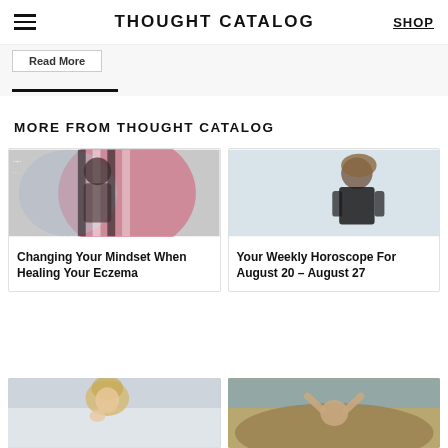THOUGHT CATALOG | SHOP
MORE FROM THOUGHT CATALOG
[Figure (photo): Woman in striped black-and-white outfit with pink artistic background]
Changing Your Mindset When Healing Your Eczema
[Figure (photo): Young woman in black top against light blue background]
Your Weekly Horoscope For August 20 – August 27
[Figure (photo): Blonde woman outdoors partially visible at bottom]
[Figure (photo): Person with hands raised outdoors on rocky terrain partially visible at bottom]